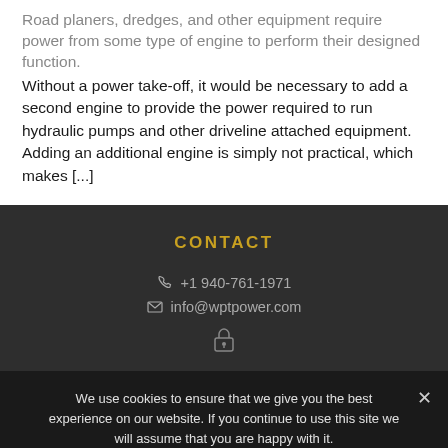Road planers, dredges, and other equipment require power from some type of engine to perform their designed function. Without a power take-off, it would be necessary to add a second engine to provide the power required to run hydraulic pumps and other driveline attached equipment. Adding an additional engine is simply not practical, which makes [...]
CONTACT
+1 940-761-1971
info@wptpower.com
We use cookies to ensure that we give you the best experience on our website. If you continue to use this site we will assume that you are happy with it.
Ok